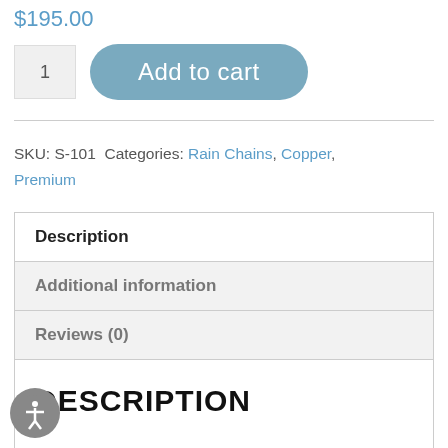$195.00
1  Add to cart
SKU: S-101 Categories: Rain Chains, Copper, Premium
| Description |
| Additional information |
| Reviews (0) |
| DESCRIPTION |
DESCRIPTION